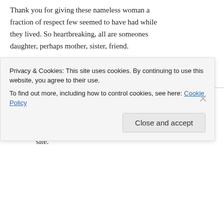Thank you for giving these nameless woman a fraction of respect few seemed to have had while they lived. So heartbreaking, all are someones daughter, perhaps mother, sister, friend.
Like
Reply
UberCool M on September 19, 2015 at 00:57
The closure of this case today guided me to this site.
Privacy & Cookies: This site uses cookies. By continuing to use this website, you agree to their use.
To find out more, including how to control cookies, see here: Cookie Policy